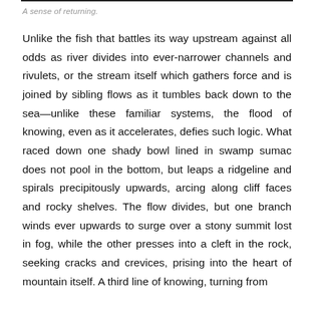A sense of returning.
Unlike the fish that battles its way upstream against all odds as river divides into ever-narrower channels and rivulets, or the stream itself which gathers force and is joined by sibling flows as it tumbles back down to the sea—unlike these familiar systems, the flood of knowing, even as it accelerates, defies such logic. What raced down one shady bowl lined in swamp sumac does not pool in the bottom, but leaps a ridgeline and spirals precipitously upwards, arcing along cliff faces and rocky shelves. The flow divides, but one branch winds ever upwards to surge over a stony summit lost in fog, while the other presses into a cleft in the rock, seeking cracks and crevices, prising into the heart of mountain itself. A third line of knowing, turning from